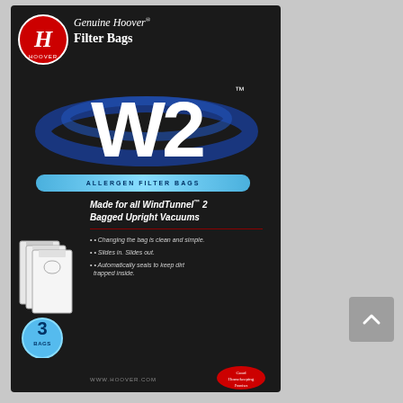[Figure (logo): Hoover brand logo - red circle with white H and 'Hoover' text]
Genuine Hoover. Filter Bags
[Figure (logo): W2 large stylized text with blue swoosh/ring graphic and TM superscript]
ALLERGEN FILTER BAGS
Made for all WindTunnel™ 2 Bagged Upright Vacuums
Changing the bag is clean and simple.
Slides in. Slides out.
Automatically seals to keep dirt trapped inside.
[Figure (illustration): Three white vacuum filter bags stacked/fanned out with a blue circle badge showing '3 BAGS']
www.hoover.com
[Figure (logo): Good Housekeeping seal/emblem in bottom right]